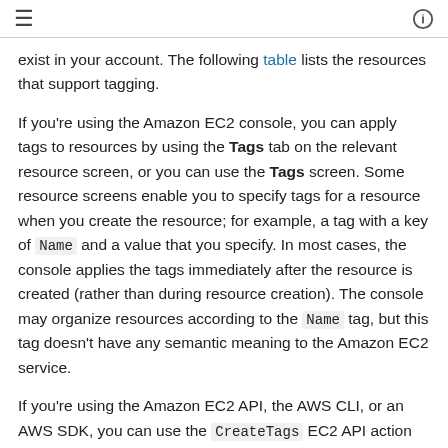≡  ⓘ
exist in your account. The following table lists the resources that support tagging.
If you're using the Amazon EC2 console, you can apply tags to resources by using the Tags tab on the relevant resource screen, or you can use the Tags screen. Some resource screens enable you to specify tags for a resource when you create the resource; for example, a tag with a key of Name and a value that you specify. In most cases, the console applies the tags immediately after the resource is created (rather than during resource creation). The console may organize resources according to the Name tag, but this tag doesn't have any semantic meaning to the Amazon EC2 service.
If you're using the Amazon EC2 API, the AWS CLI, or an AWS SDK, you can use the CreateTags EC2 API action